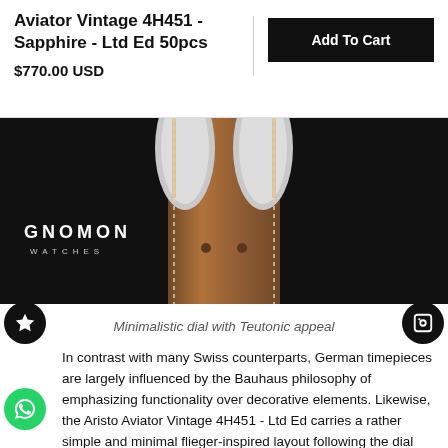Aviator Vintage 4H451 - Sapphire - Ltd Ed 50pcs
$770.00 USD
[Figure (photo): Close-up photo of a watch strap and case on dark background with GNOMON WATCHES logo in lower left]
Minimalistic dial with Teutonic appeal
In contrast with many Swiss counterparts, German timepieces are largely influenced by the Bauhaus philosophy of emphasizing functionality over decorative elements. Likewise, the Aristo Aviator Vintage 4H451 - Ltd Ed carries a rather simple and minimal flieger-inspired layout following the dial designs of vintage aviation watches. The matte black dial features 12 luminous Arabic numerals for hour markers, pencil-style minute hand and a broad distinctive squared-off hour hand that provides clear orientation of the dial with a simple glance — the Aristo Bauhaus / Aristo flieger / Teutonic